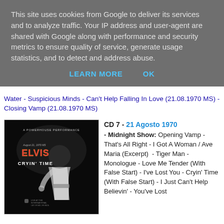This site uses cookies from Google to deliver its services and to analyze traffic. Your IP address and user-agent are shared with Google along with performance and security metrics to ensure quality of service, generate usage statistics, and to detect and address abuse.
LEARN MORE    OK
Water - Suspicious Minds - Can't Help Falling In Love (21.08.1970 MS) - Closing Vamp (21.08.1970 MS)
[Figure (photo): Black and white album cover for Elvis 'Cryin' Time' showing Elvis Presley performing on stage in a white jumpsuit. Text reads 'A Powerhouse Performance', 'August 21, 1970 MS', 'ELVIS' in colorful dotted letters, 'CRYIN' TIME', and 'Live at the International Hotel, Las Vegas, Nevada'.]
CD 7 - 21 Agosto 1970 - Midnight Show: Opening Vamp - That's All Right - I Got A Woman / Ave Maria (Excerpt) - Tiger Man - Monologue - Love Me Tender (With False Start) - I've Lost You - Cryin' Time (With False Start) - I Just Can't Help Believin' - You've Lost